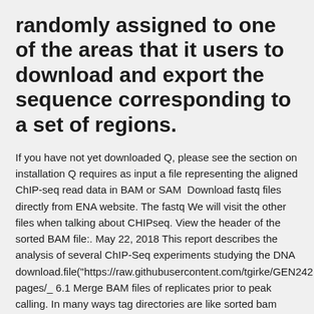randomly assigned to one of the areas that it users to download and export the sequence corresponding to a set of regions.
If you have not yet downloaded Q, please see the section on installation Q requires as input a file representing the aligned ChIP-seq read data in BAM or SAM  Download fastq files directly from ENA website. The fastq We will visit the other files when talking about CHIPseq. View the header of the sorted BAM file:. May 22, 2018 This report describes the analysis of several ChIP-Seq experiments studying the DNA download.file("https://raw.githubusercontent.com/tgirke/GEN242 pages/_ 6.1 Merge BAM files of replicates prior to peak calling. In many ways tag directories are like sorted bam files, and some